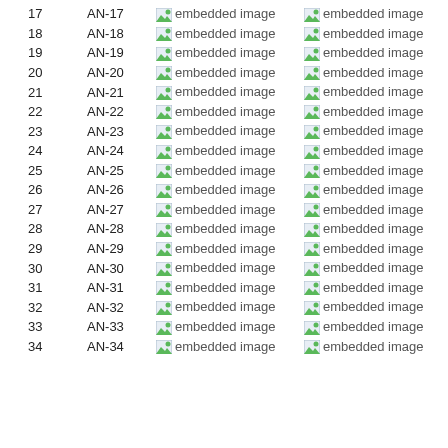| # | Code | Image1 | Image2 |
| --- | --- | --- | --- |
| 17 | AN-17 | embedded image | embedded image |
| 18 | AN-18 | embedded image | embedded image |
| 19 | AN-19 | embedded image | embedded image |
| 20 | AN-20 | embedded image | embedded image |
| 21 | AN-21 | embedded image | embedded image |
| 22 | AN-22 | embedded image | embedded image |
| 23 | AN-23 | embedded image | embedded image |
| 24 | AN-24 | embedded image | embedded image |
| 25 | AN-25 | embedded image | embedded image |
| 26 | AN-26 | embedded image | embedded image |
| 27 | AN-27 | embedded image | embedded image |
| 28 | AN-28 | embedded image | embedded image |
| 29 | AN-29 | embedded image | embedded image |
| 30 | AN-30 | embedded image | embedded image |
| 31 | AN-31 | embedded image | embedded image |
| 32 | AN-32 | embedded image | embedded image |
| 33 | AN-33 | embedded image | embedded image |
| 34 | AN-34 | embedded image | embedded image |